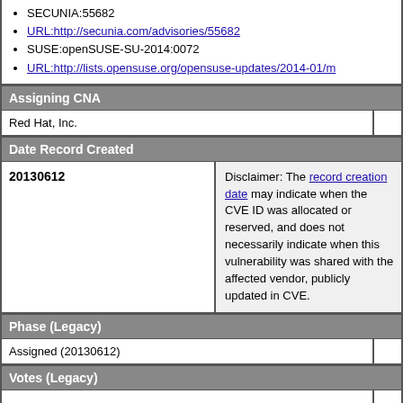SECUNIA:55682
URL:http://secunia.com/advisories/55682
SUSE:openSUSE-SU-2014:0072
URL:http://lists.opensuse.org/opensuse-updates/2014-01/m
Assigning CNA
Red Hat, Inc.
Date Record Created
20130612
Disclaimer: The record creation date may indicate when the CVE ID was allocated or reserved, and does not necessarily indicate when this vulnerability was discovered, shared with the affected vendor, publicly disclosed, or updated in CVE.
Phase (Legacy)
Assigned (20130612)
Votes (Legacy)
Comments (Legacy)
Proposed (Legacy)
N/A